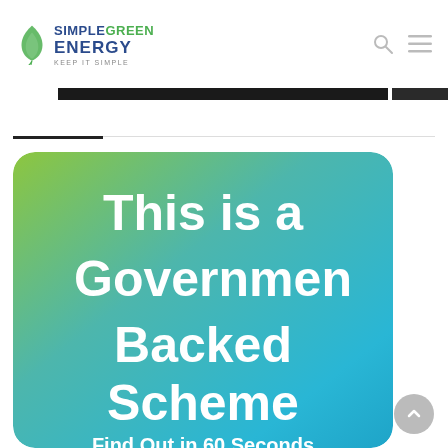SIMPLEGREEN ENERGY — KEEP IT SIMPLE
[Figure (screenshot): Dark tablet/device strip partially visible at top]
[Figure (infographic): Green-to-teal gradient rounded card with large white text reading 'This is a Government Backed Scheme' and subtitle 'Find Out in 60 Seconds']